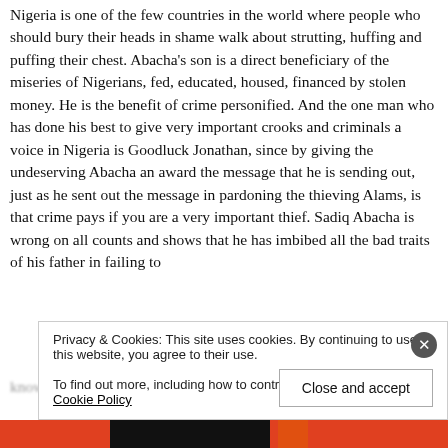Nigeria is one of the few countries in the world where people who should bury their heads in shame walk about strutting, huffing and puffing their chest. Abacha's son is a direct beneficiary of the miseries of Nigerians, fed, educated, housed, financed by stolen money. He is the benefit of crime personified. And the one man who has done his best to give very important crooks and criminals a voice in Nigeria is Goodluck Jonathan, since by giving the undeserving Abacha an award the message that he is sending out, just as he sent out the message in pardoning the thieving Alams, is that crime pays if you are a very important thief. Sadiq Abacha is wrong on all counts and shows that he has imbibed all the bad traits of his father in failing to know that what is wrong is wrong. Abacha, also, well...
Privacy & Cookies: This site uses cookies. By continuing to use this website, you agree to their use.
To find out more, including how to control cookies, see here: Cookie Policy